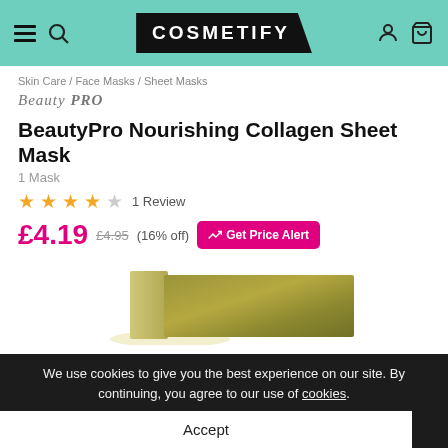COSMETIFY
Skin Care / Face Masks / Sheet Masks
BeautyPro
BeautyPro Nourishing Collagen Sheet Mask
1 Mask
1 Review
£4.19  £4.95  (16% off)  Get Price Alert
[Figure (photo): Product image of BeautyPro Nourishing Collagen Sheet Mask packaging, olive/gold colored box]
We use cookies to give you the best experience on our site. By continuing, you agree to our use of cookies.
Accept